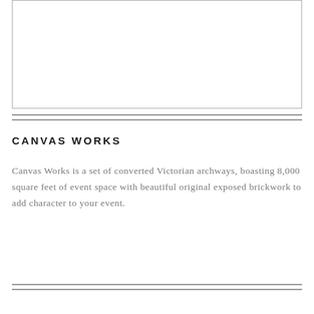[Figure (other): Empty white rectangular image placeholder with a light grey border]
CANVAS WORKS
Canvas Works is a set of converted Victorian archways, boasting 8,000 square feet of event space with beautiful original exposed brickwork to add character to your event.